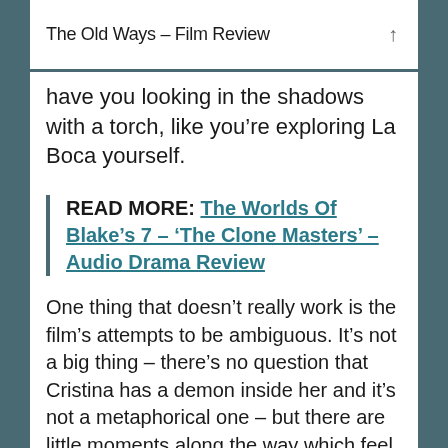The Old Ways – Film Review
have you looking in the shadows with a torch, like you're exploring La Boca yourself.
READ MORE: The Worlds Of Blake's 7 – 'The Clone Masters' – Audio Drama Review
One thing that doesn't really work is the film's attempts to be ambiguous. It's not a big thing – there's no question that Cristina has a demon inside her and it's not a metaphorical one – but there are little moments along the way which feel like they're glossed over. You're never sure